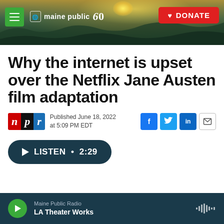[Figure (screenshot): Maine Public 60 website header banner with landscape sunset photo, hamburger menu, Maine Public 60 logo, and red DONATE button]
Why the internet is upset over the Netflix Jane Austen film adaptation
Published June 18, 2022 at 5:09 PM EDT
[Figure (logo): NPR logo with red N, black P, blue R]
LISTEN • 2:29
Maine Public Radio | LA Theater Works